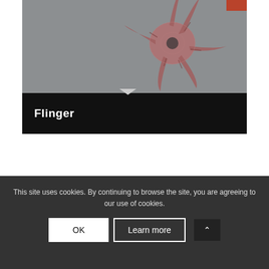[Figure (photo): A starfish or sea star specimen with spiny protrusions photographed against a grey background]
Flinger
This site uses cookies. By continuing to browse the site, you are agreeing to our use of cookies.